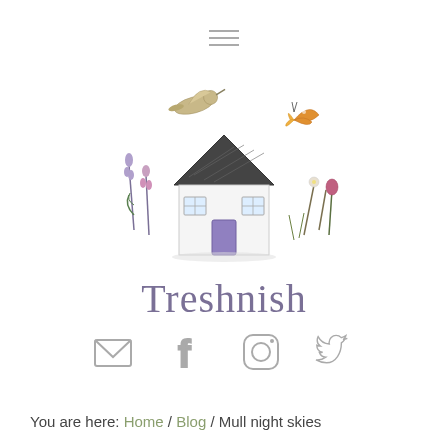[Figure (logo): Treshnish logo — illustrated cottage with birds, butterflies and wildflowers, with the word Treshnish below in purple-grey serif font]
[Figure (other): Social media icons: email envelope, Facebook f, Instagram camera, Twitter bird — all in light grey outline style]
You are here: Home / Blog / Mull night skies